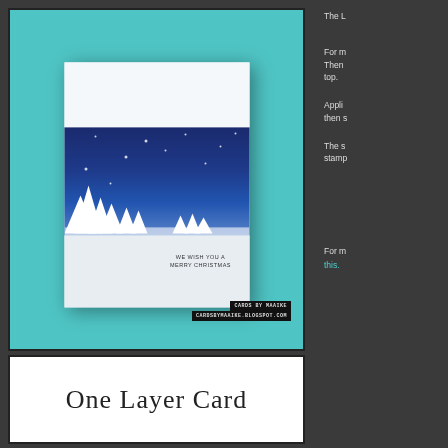[Figure (photo): Christmas card photograph showing a white card with blue winter night sky scene featuring white tree silhouettes, snowflake sparkles, and text reading 'WE WISH YOU A MERRY CHRISTMAS'. Set against a teal background. Watermark reads 'CARDS BY MAAIKE / CARDSBYMAAIKE.BLOGSPOT.COM']
The L
For m
Then
top.
Appli
then s
The s
stamp
[Figure (photo): White image panel with large text reading 'One Layer Card']
For m
this.